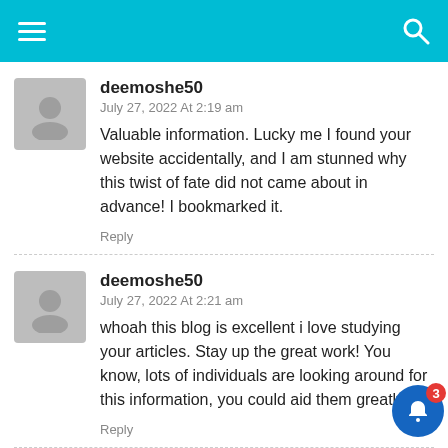Navigation header with hamburger menu and search icon
deemoshe50
July 27, 2022 At 2:19 am
Valuable information. Lucky me I found your website accidentally, and I am stunned why this twist of fate did not came about in advance! I bookmarked it.
Reply
deemoshe50
July 27, 2022 At 2:21 am
whoah this blog is excellent i love studying your articles. Stay up the great work! You know, lots of individuals are looking around for this information, you could aid them greatly.
Reply